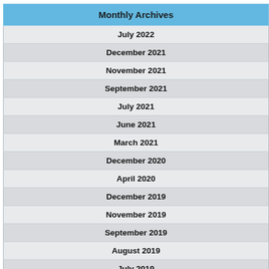| Monthly Archives |
| --- |
| July 2022 |
| December 2021 |
| November 2021 |
| September 2021 |
| July 2021 |
| June 2021 |
| March 2021 |
| December 2020 |
| April 2020 |
| December 2019 |
| November 2019 |
| September 2019 |
| August 2019 |
| July 2019 |
| June 2019 |
| February 2019 |